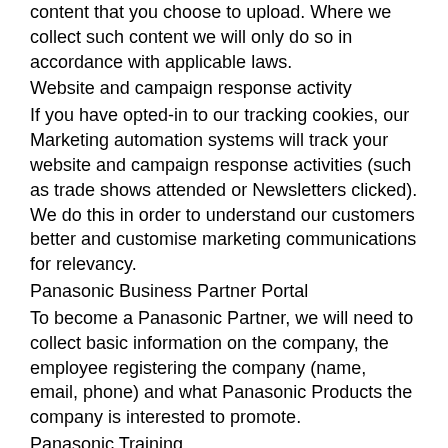content that you choose to upload. Where we collect such content we will only do so in accordance with applicable laws.
Website and campaign response activity
If you have opted-in to our tracking cookies, our Marketing automation systems will track your website and campaign response activities (such as trade shows attended or Newsletters clicked). We do this in order to understand our customers better and customise marketing communications for relevancy.
Panasonic Business Partner Portal
To become a Panasonic Partner, we will need to collect basic information on the company, the employee registering the company (name, email, phone) and what Panasonic Products the company is interested to promote.
Panasonic Training
The Panasonic Training tool is a learning platform used to train Panasonic business partners face-to-face or via e-learning. It will keep record of the training results for all the